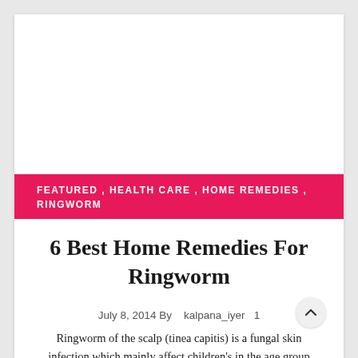[Figure (other): White advertisement/image placeholder area at the top of the article card]
FEATURED , HEALTH CARE , HOME REMEDIES , RINGWORM
6 Best Home Remedies For Ringworm
July 8, 2014 By kalpana_iyer 1
Ringworm of the scalp (tinea capitis) is a fungal skin infection which mainly affect children's in the age group